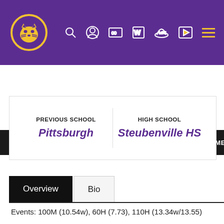[Figure (logo): LSU Tigers logo on purple header background with navigation icons]
TRACK & FIELD   ROSTER   SCHEDULE   HOME MEET IN
| PREVIOUS SCHOOL | HIGH SCHOOL |
| --- | --- |
| Pittsburgh | Steubenville HS |
Overview  Bio
Events: 100M (10.54w), 60H (7.73), 110H (13.34w/13.55)
2-time All-American
2-time All-SEC